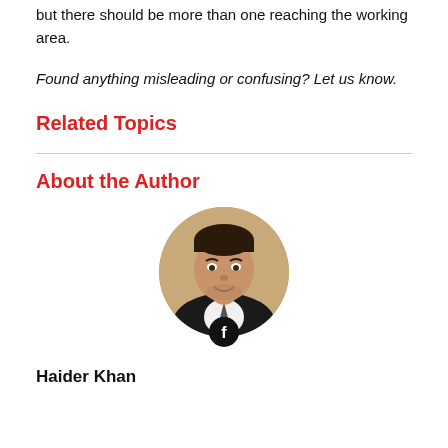but there should be more than one reaching the working area.
Found anything misleading or confusing? Let us know.
Related Topics
About the Author
[Figure (photo): Circular profile photo of a young man in a black suit and tie, smiling, with a Facebook icon badge below the photo.]
Haider Khan